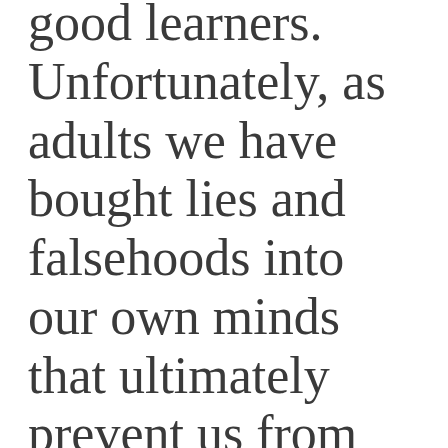good learners. Unfortunately, as adults we have bought lies and falsehoods into our own minds that ultimately prevent us from achieving the best results.
I have spent the past 15 years focused almost exclusively on teaching and training adults in a variety of areas. From hobbies like knitting and skiing to “important” topics like business finance and project management, the challenges with adult learners are almost always the same.
As adults we struggle to learn new things, not